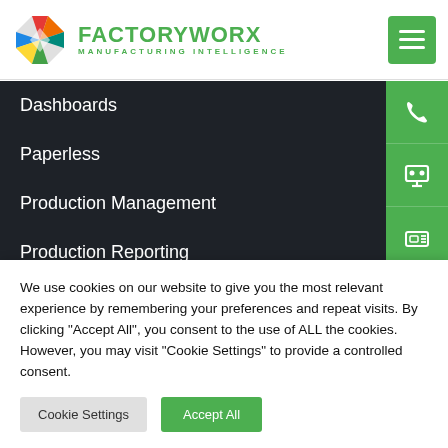[Figure (logo): FactoryWorx logo with colorful diamond/hexagon shape and green text reading FACTORYWORX MANUFACTURING INTELLIGENCE]
Dashboards
Paperless
Production Management
Production Reporting
Quality Management
We use cookies on our website to give you the most relevant experience by remembering your preferences and repeat visits. By clicking "Accept All", you consent to the use of ALL the cookies. However, you may visit "Cookie Settings" to provide a controlled consent.